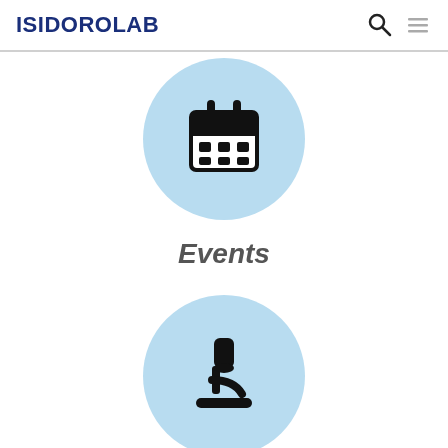ISIDOROLAB
[Figure (illustration): Light blue circle with a calendar icon inside]
Events
[Figure (illustration): Light blue circle with a microscope icon inside]